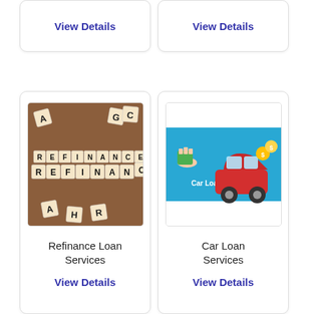View Details
View Details
[Figure (photo): Scrabble tiles spelling REFINANCE on a wooden surface]
Refinance Loan Services
View Details
[Figure (illustration): Cartoon illustration of a hand holding cash next to a red car with coins, labeled Car Loan on blue background]
Car Loan Services
View Details